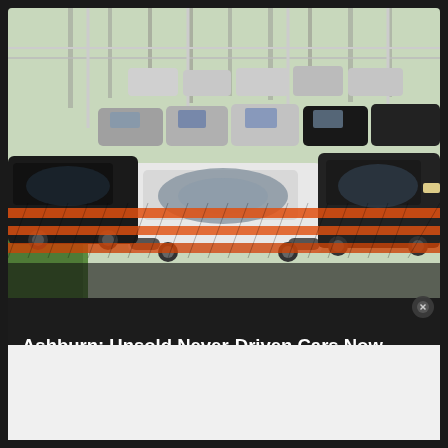[Figure (photo): Large car lot with rows of unsold vehicles, mostly SUVs and sedans, packed closely together behind orange construction/safety netting fence. Green grass and trees visible in the background. Overhead metal framework/canopy structure above some cars.]
Ashburn: Unsold Never-Driven Cars Now Almost Being Given Away: See Prices
SUV Deals | Search Ads